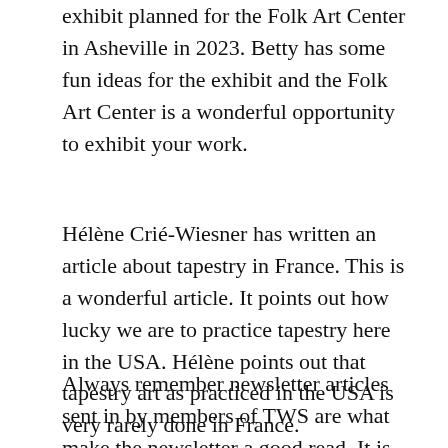exhibit planned for the Folk Art Center in Asheville in 2023. Betty has some fun ideas for the exhibit and the Folk Art Center is a wonderful opportunity to exhibit your work.
Hélène Crié-Wiesner has written an article about tapestry in France. This is a wonderful article. It points out how lucky we are to practice tapestry here in the USA. Hélène points out that tapestry art as practiced in the USA is very rarely done in France.
Always remember newsletter articles sent in by members of TWS are what make the newsletter a good read. It is encouraging to hear about exhibits you are in, tips for weaving, classes you are teaching or know